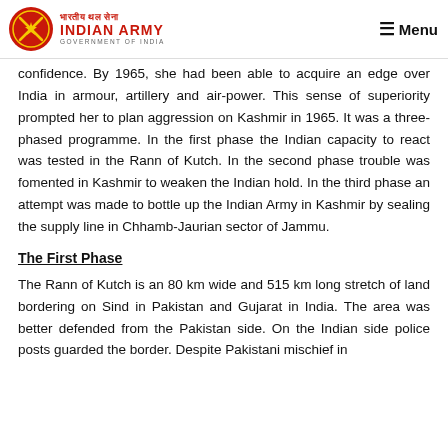Indian Army - Government of India | Menu
confidence. By 1965, she had been able to acquire an edge over India in armour, artillery and air-power. This sense of superiority prompted her to plan aggression on Kashmir in 1965. It was a three-phased programme. In the first phase the Indian capacity to react was tested in the Rann of Kutch. In the second phase trouble was fomented in Kashmir to weaken the Indian hold. In the third phase an attempt was made to bottle up the Indian Army in Kashmir by sealing the supply line in Chhamb-Jaurian sector of Jammu.
The First Phase
The Rann of Kutch is an 80 km wide and 515 km long stretch of land bordering on Sind in Pakistan and Gujarat in India. The area was better defended from the Pakistan side. On the Indian side police posts guarded the border. Despite Pakistani mischief in